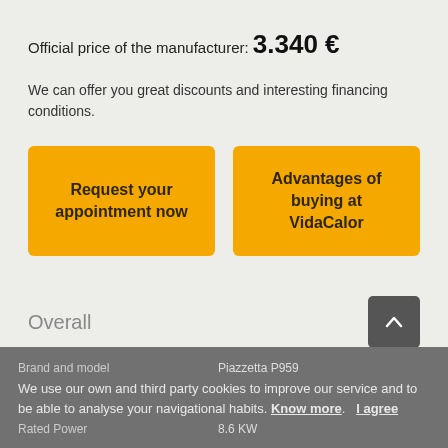Official price of the manufacturer: 3.340 €
We can offer you great discounts and interesting financing conditions.
Request your appointment now
Advantages of buying at VidaCalor
Overall
Brand and model   Piazzetta P959
We use our own and third party cookies to improve our service and to be able to analyse your navigational habits. Know more.   I agree
Rated Power   8.6 KW